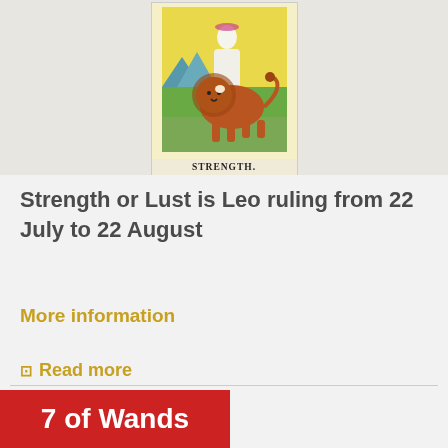[Figure (illustration): Tarot card illustration: The Strength card showing a robed figure taming a lion, with a yellow background and mountains. Label reads STRENGTH. at the bottom.]
Strength or Lust is Leo ruling from 22 July to 22 August
More information
⊡ Read more
7 of Wands